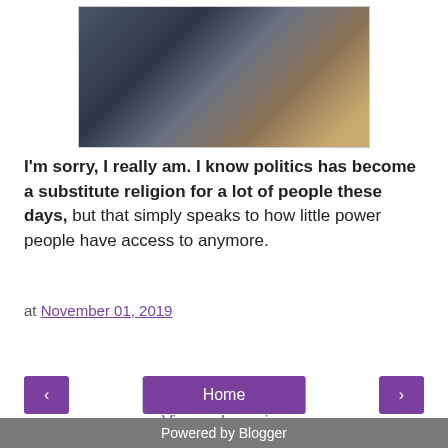[Figure (photo): Photo showing two people, one in a blue suit and another in a colorful costume resembling Thanos from Marvel]
I'm sorry, I really am. I know politics has become a substitute religion for a lot of people these days, but that simply speaks to how little power people have access to anymore.
at November 01, 2019
Share
Home
View web version
Powered by Blogger